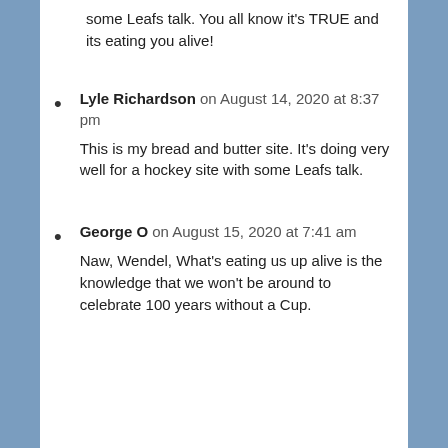some Leafs talk. You all know it's TRUE and its eating you alive!
Lyle Richardson on August 14, 2020 at 8:37 pm
This is my bread and butter site. It's doing very well for a hockey site with some Leafs talk.
George O on August 15, 2020 at 7:41 am
Naw, Wendel, What's eating us up alive is the knowledge that we won't be around to celebrate 100 years without a Cup.